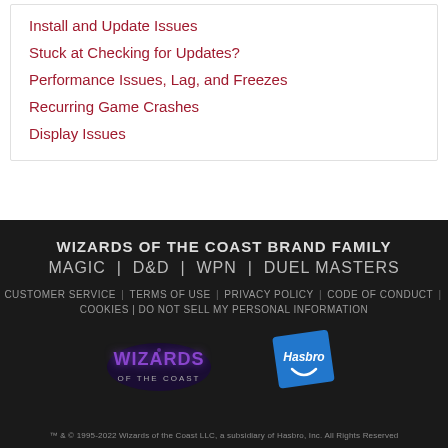Install and Update Issues
Stuck at Checking for Updates?
Performance Issues, Lag, and Freezes
Recurring Game Crashes
Display Issues
WIZARDS OF THE COAST BRAND FAMILY
MAGIC | D&D | WPN | DUEL MASTERS
CUSTOMER SERVICE | TERMS OF USE | PRIVACY POLICY | CODE OF CONDUCT | COOKIES | DO NOT SELL MY PERSONAL INFORMATION
[Figure (logo): Wizards of the Coast logo - purple/blue stylized text on dark background]
[Figure (logo): Hasbro logo - blue tilted square with white Hasbro text and smile]
™ & © 1995-2022 Wizards of the Coast LLC, a subsidiary of Hasbro, Inc. All Rights Reserved